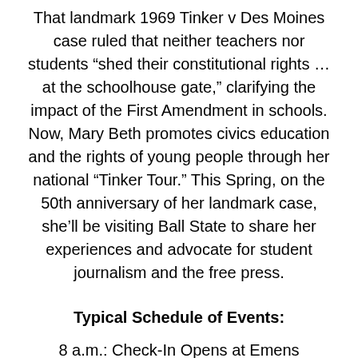That landmark 1969 Tinker v Des Moines case ruled that neither teachers nor students “shed their constitutional rights … at the schoolhouse gate,” clarifying the impact of the First Amendment in schools. Now, Mary Beth promotes civics education and the rights of young people through her national “Tinker Tour.” This Spring, on the 50th anniversary of her landmark case, she’ll be visiting Ball State to share her experiences and advocate for student journalism and the free press.
Typical Schedule of Events:
8 a.m.: Check-In Opens at Emens